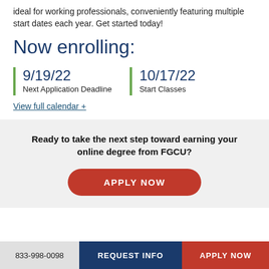ideal for working professionals, conveniently featuring multiple start dates each year. Get started today!
Now enrolling:
9/19/22
Next Application Deadline
10/17/22
Start Classes
View full calendar +
Ready to take the next step toward earning your online degree from FGCU?
APPLY NOW
833-998-0098  REQUEST INFO  APPLY NOW